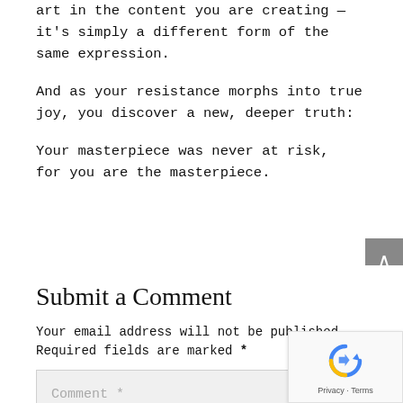art in the content you are creating — it's simply a different form of the same expression.
And as your resistance morphs into true joy, you discover a new, deeper truth:
Your masterpiece was never at risk, for you are the masterpiece.
Submit a Comment
Your email address will not be published. Required fields are marked *
Comment *